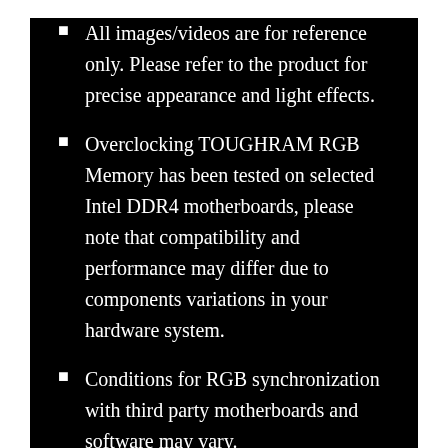All images/videos are for reference only. Please refer to the product for precise appearance and light effects.
Overclocking TOUGHRAM RGB Memory has been tested on selected Intel DDR4 motherboards, please note that compatibility and performance may differ due to components variations in your hardware system.
Conditions for RGB synchronization with third party motherboards and software may vary.
Related Products